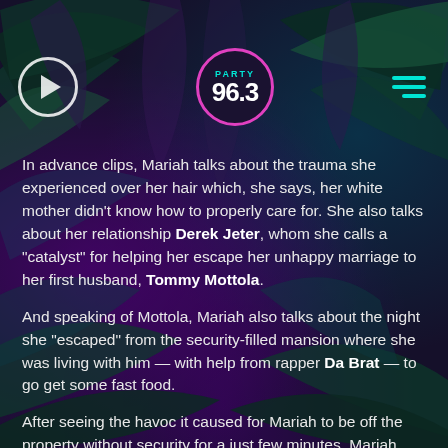[Figure (logo): Party 96.3 radio station logo in a circle with pink border, cyan 'PARTY' text above white '96.3' numbers]
In advance clips, Mariah talks about the trauma she experienced over her hair which, she says, her white mother didn't know how to properly care for. She also talks about her relationship Derek Jeter, whom she calls a "catalyst" for helping her escape her unhappy marriage to her first husband, Tommy Mottola.
And speaking of Mottola, Mariah also talks about the night she "escaped" from the security-filled mansion where she was living with him — with help from rapper Da Brat — to go get some fast food.
After seeing the havoc it caused for Mariah to be off the property without security for a just few minutes, Mariah says, Da Brat told her, "This is not O.K. You're Mariah Carey. You can't be in this relationship."